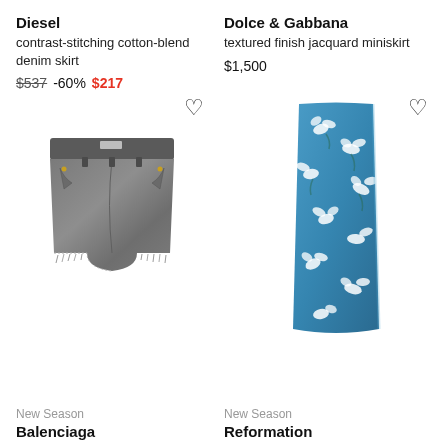Diesel
contrast-stitching cotton-blend denim skirt
$537 -60% $217
Dolce & Gabbana
textured finish jacquard miniskirt
$1,500
[Figure (photo): Gray denim cutoff shorts with frayed hem and front pockets, displayed on white background]
[Figure (photo): Blue floral jacquard miniskirt with white flower pattern, displayed on white background]
New Season
Balenciaga
New Season
Reformation